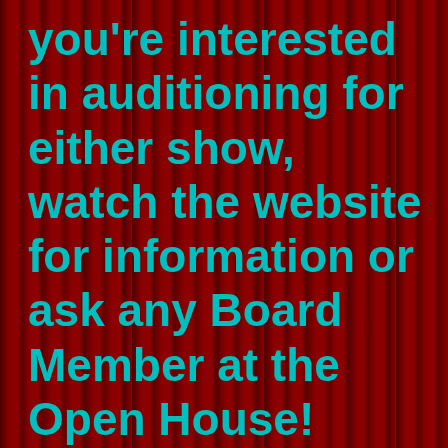you're interested in auditioning for either show, watch the website for information or ask any Board Member at the Open House! Our technical committee